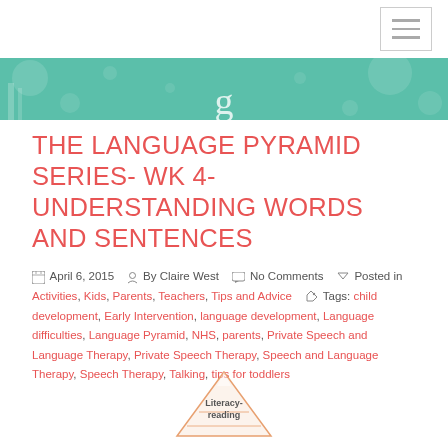[hamburger menu icon]
[Figure (illustration): Green teal banner with decorative dots/circles pattern and a cursive/script letter or logo mark at bottom center]
THE LANGUAGE PYRAMID SERIES- WK 4- UNDERSTANDING WORDS AND SENTENCES
April 6, 2015   By Claire West   No Comments   Posted in Activities, Kids, Parents, Teachers, Tips and Advice   Tags: child development, Early Intervention, language development, Language difficulties, Language Pyramid, NHS, parents, Private Speech and Language Therapy, Private Speech Therapy, Speech and Language Therapy, Speech Therapy, Talking, tips for toddlers
[Figure (illustration): Partial illustration showing a pyramid shape labeled 'Literacy-reading' at the bottom of the page]